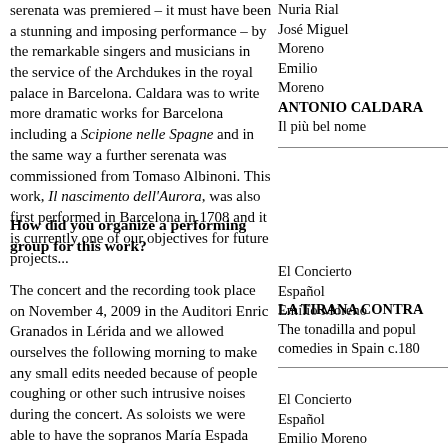serenata was premiered – it must have been a stunning and imposing performance – by the remarkable singers and musicians in the service of the Archdukes in the royal palace in Barcelona. Caldara was to write more dramatic works for Barcelona including a Scipione nelle Spagne and in the same way a further serenata was commissioned from Tomaso Albinoni. This work, Il nascimento dell'Aurora, was also first performed in Barcelona in 1708 and it is currently one of our objectives for future projects...
Nuria Rial
José Miguel Moreno
Emilio Moreno
ANTONIO CALDARA
Il più bel nome
How did you organize a performing group for this work?
El Concierto Español
Emilio Moreno
The concert and the recording took place on November 4, 2009 in the Auditori Enric Granados in Lérida and we allowed ourselves the following morning to make any small edits needed because of people coughing or other such intrusive noises during the concert. As soloists we were able to have the sopranos María Espada and Raquel Andueza, the mezzo Marianne Beate
LA TIRANA CONTR...
The tonadilla and popular comedies in Spain c.18...
El Concierto Español
Emilio Moreno
BOCCHERINI EN BO...